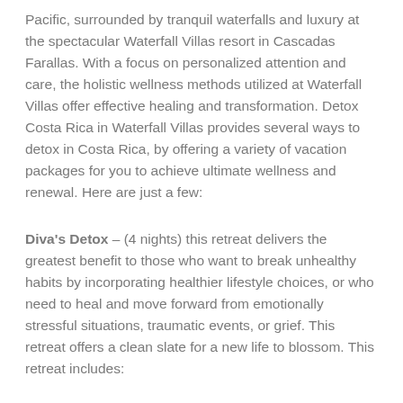Pacific, surrounded by tranquil waterfalls and luxury at the spectacular Waterfall Villas resort in Cascadas Farallas. With a focus on personalized attention and care, the holistic wellness methods utilized at Waterfall Villas offer effective healing and transformation. Detox Costa Rica in Waterfall Villas provides several ways to detox in Costa Rica, by offering a variety of vacation packages for you to achieve ultimate wellness and renewal. Here are just a few:
Diva's Detox – (4 nights) this retreat delivers the greatest benefit to those who want to break unhealthy habits by incorporating healthier lifestyle choices, or who need to heal and move forward from emotionally stressful situations, traumatic events, or grief. This retreat offers a clean slate for a new life to blossom. This retreat includes: